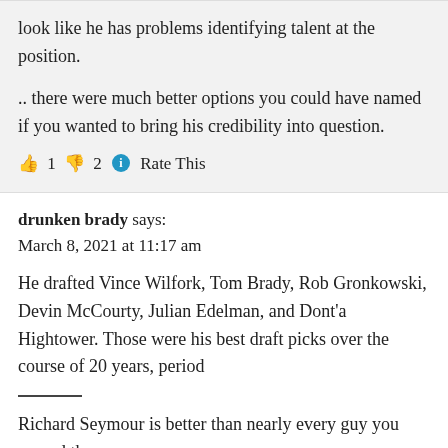look like he has problems identifying talent at the position.
.. there were much better options you could have named if you wanted to bring his credibility into question.
👍 1 👎 2 ℹ Rate This
drunken brady says:
March 8, 2021 at 11:17 am
He drafted Vince Wilfork, Tom Brady, Rob Gronkowski, Devin McCourty, Julian Edelman, and Dont'a Hightower. Those were his best draft picks over the course of 20 years, period
Richard Seymour is better than nearly every guy you named there
Matt Light
Asante Samuel